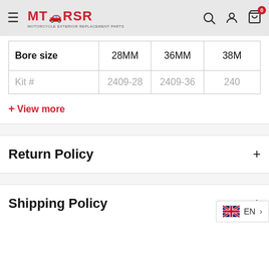MTARSR
| Bore size | 28MM | 36MM | 38M |
| --- | --- | --- | --- |
| Kit # | 2409-28 | 2409-36 | 240 |
+ View more
Return Policy +
Shipping Policy +